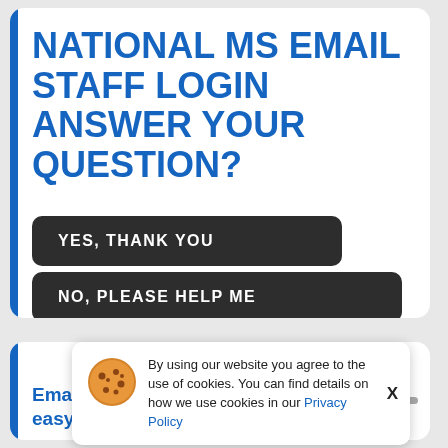NATIONAL MS EMAIL STAFF LOGIN ANSWER YOUR QUESTION?
YES, THANK YOU
NO, PLEASE HELP ME
By using our website you agree to the use of cookies. You can find details on how we use cookies in our Privacy Policy
Email Staff Login, then there is a very easy way to do it